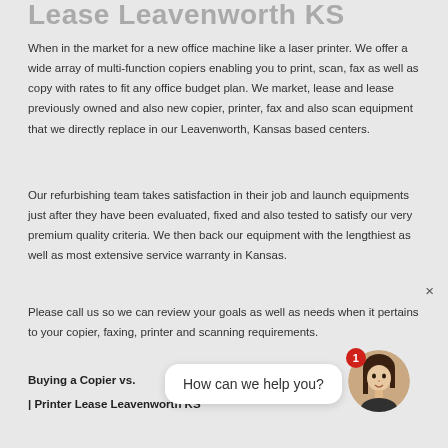Lease Leavenworth KS
When in the market for a new office machine like a laser printer. We offer a wide array of multi-function copiers enabling you to print, scan, fax as well as copy with rates to fit any office budget plan. We market, lease and lease previously owned and also new copier, printer, fax and also scan equipment that we directly replace in our Leavenworth, Kansas based centers.
Our refurbishing team takes satisfaction in their job and launch equipments just after they have been evaluated, fixed and also tested to satisfy our very premium quality criteria. We then back our equipment with the lengthiest as well as most extensive service warranty in Kansas.
Please call us so we can review your goals as well as needs when it pertains to your copier, faxing, printer and scanning requirements.
Buying a Copier vs.
| Printer Lease Leavenworth KS
[Figure (other): Chat widget showing 'How can we help you?' speech bubble with a female avatar and a red notification badge showing 1]